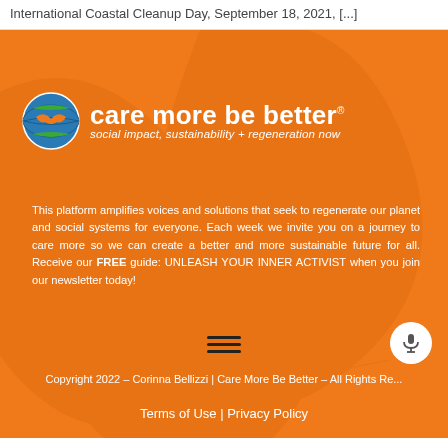International Coastal Cleanup Day, September 18, 2021, [...]
[Figure (logo): Care More Be Better logo with orange background, leaf pattern, circular globe icon with handshake, and text 'care more be better - social impact, sustainability + regeneration now']
This platform amplifies voices and solutions that seek to regenerate our planet and social systems for everyone. Each week we invite you on a journey to care more so we can create a better and more sustainable future for all. Receive our FREE guide: UNLEASH YOUR INNER ACTIVIST when you join our newsletter today!
Copyright 2022 – Corinna Bellizzi | Care More Be Better – All Rights Re...
Terms of Use | Privacy Policy